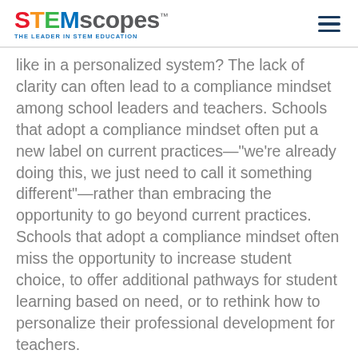STEMscopes™ THE LEADER IN STEM EDUCATION
like in a personalized system? The lack of clarity can often lead to a compliance mindset among school leaders and teachers. Schools that adopt a compliance mindset often put a new label on current practices—"we're already doing this, we just need to call it something different"—rather than embracing the opportunity to go beyond current practices. Schools that adopt a compliance mindset often miss the opportunity to increase student choice, to offer additional pathways for student learning based on need, or to rethink how to personalize their professional development for teachers.
To avoid the risk, districts should: